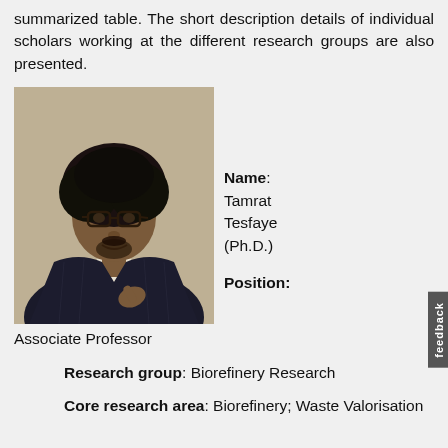summarized table. The short description details of individual scholars working at the different research groups are also presented.
[Figure (photo): Portrait photo of Tamrat Tesfaye (Ph.D.), a man with an afro hairstyle and glasses wearing a dark pinstripe suit jacket, pointing towards the camera.]
Name: Tamrat Tesfaye (Ph.D.)
Position: Associate Professor
Research group: Biorefinery Research
Core research area: Biorefinery; Waste Valorisation